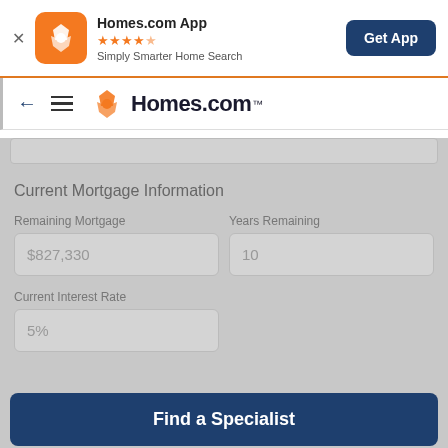[Figure (screenshot): App banner for Homes.com App with orange icon, star rating, tagline, and Get App button]
[Figure (screenshot): Navigation bar with back arrow, hamburger menu, and Homes.com logo]
Current Mortgage Information
Remaining Mortgage
$827,330
Years Remaining
10
Current Interest Rate
5%
Find a Specialist